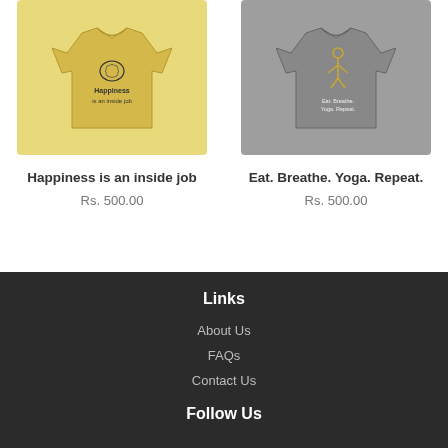[Figure (photo): Yellow t-shirt with 'Happiness is an inside job' graphic print]
Happiness is an inside job
Rs. 500.00
[Figure (photo): Gray t-shirt with 'Eat. Breathe. Yoga. Repeat.' graphic print]
Eat. Breathe. Yoga. Repeat.
Rs. 500.00
Links
About Us
FAQs
Contact Us
Follow Us